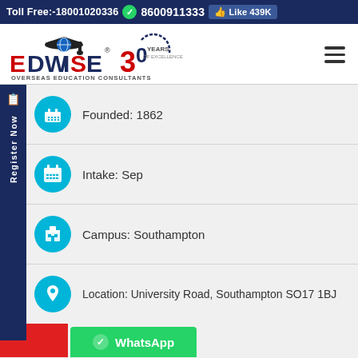Toll Free:-18001020336  8600911333  Like 439K
[Figure (logo): Edwise Overseas Education Consultants logo with graduation cap and 30 Years of Excellence badge]
Founded: 1862
Intake: Sep
Campus: Southampton
Location: University Road, Southampton SO17 1BJ
WhatsApp